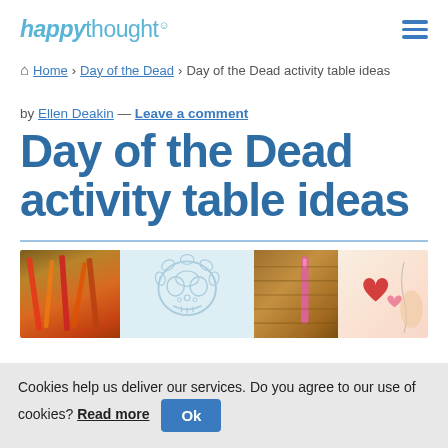happythought
Home › Day of the Dead › Day of the Dead activity table ideas
by Ellen Deakin — Leave a comment
Day of the Dead activity table ideas
[Figure (photo): Three panel image showing craft supplies including colored pencils and woven material, a skull coloring page outline, and sewing/craft items with pink and red fabric on a light background]
Cookies help us deliver our services. Do you agree to our use of cookies? Read more Ok